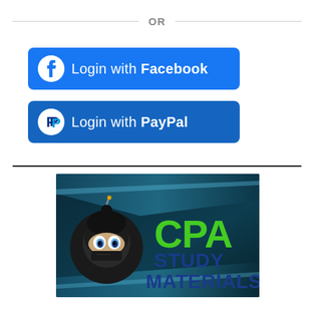OR
[Figure (other): Login with Facebook button — blue rounded rectangle with Facebook logo icon and text 'Login with Facebook']
[Figure (other): Login with PayPal button — dark blue rounded rectangle with PayPal logo icon and text 'Login with PayPal']
[Figure (logo): CPA Study Materials logo — ninja character mascot with green 'CPA' and dark blue 'STUDY MATERIALS' text on dark teal background banner]